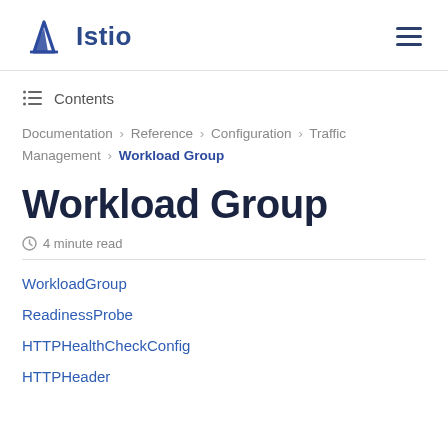Istio
Contents
Documentation > Reference > Configuration > Traffic Management > Workload Group
Workload Group
4 minute read
WorkloadGroup
ReadinessProbe
HTTPHealthCheckConfig
HTTPHeader